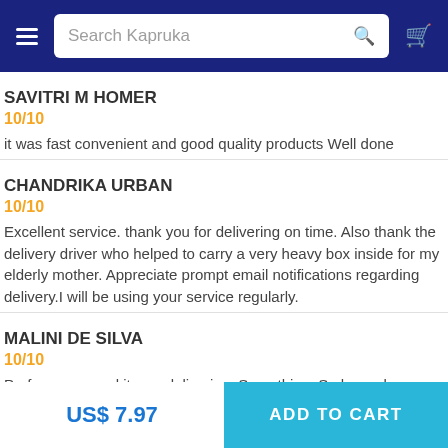Search Kapruka
SAVITRI M HOMER
10/10
it was fast convenient and good quality products Well done
CHANDRIKA URBAN
10/10
Excellent service. thank you for delivering on time. Also thank the delivery driver who helped to carry a very heavy box inside for my elderly mother. Appreciate prompt email notifications regarding delivery.I will be using your service regularly.
MALINI DE SILVA
10/10
US$ 7.97
ADD TO CART